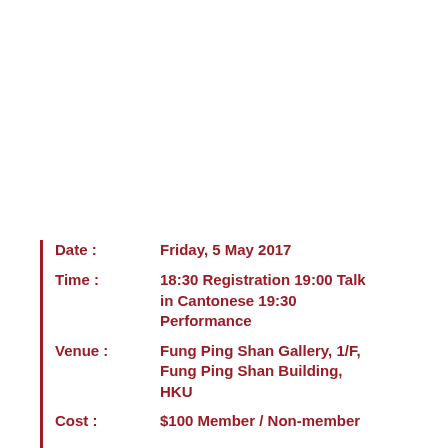Date : Friday, 5 May 2017
Time : 18:30 Registration 19:00 Talk in Cantonese 19:30 Performance
Venue : Fung Ping Shan Gallery, 1/F, Fung Ping Shan Building, HKU
Cost : $100 Member / Non-member